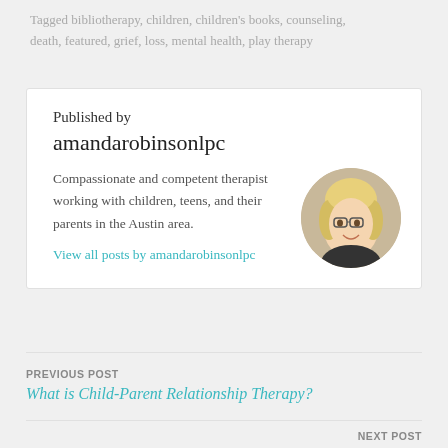Tagged bibliotherapy, children, children's books, counseling, death, featured, grief, loss, mental health, play therapy
Published by
amandarobinsonlpc
Compassionate and competent therapist working with children, teens, and their parents in the Austin area.
View all posts by amandarobinsonlpc
[Figure (photo): Circular profile photo of a woman with blonde hair and glasses, smiling]
PREVIOUS POST
What is Child-Parent Relationship Therapy?
NEXT POST